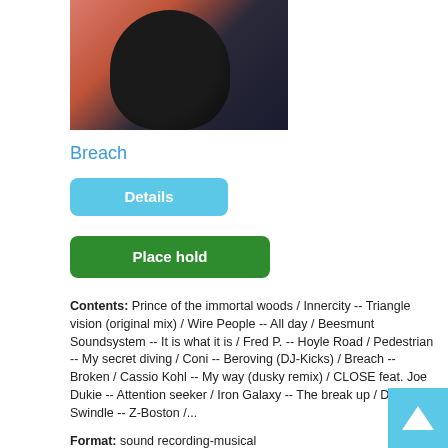[Figure (photo): Artist photo: person wearing dark clothing against a salmon/terracotta and teal background]
Breach
Details
Place hold
Contents: Prince of the immortal woods / Innercity -- Triangle vision (original mix) / Wire People -- All day / Beesmunt Soundsystem -- It is what it is / Fred P. -- Hoyle Road / Pedestrian -- My secret diving / Coni -- Beroving (DJ-Kicks) / Breach -- Broken / Cassio Kohl -- My way (dusky remix) / CLOSE feat. Joe Dukie -- Attention seeker / Iron Galaxy -- The break up / Detroit Swindle -- Z-Boston /...
Format: sound recording-musical
Publisher / Publication Date: !K7 2013